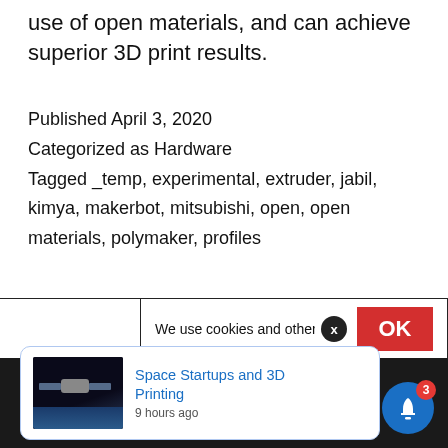use of open materials, and can achieve superior 3D print results.
Published April 3, 2020
Categorized as Hardware
Tagged _temp, experimental, extruder, jabil, kimya, makerbot, mitsubishi, open, open materials, polymaker, profiles
We use cookies and other techniqu…
[Figure (screenshot): Notification popup showing 'Space Startups and 3D Printing' article link with satellite image, posted 9 hours ago, with bell icon showing 3 notifications]
Space Startups and 3D Printing
9 hours ago